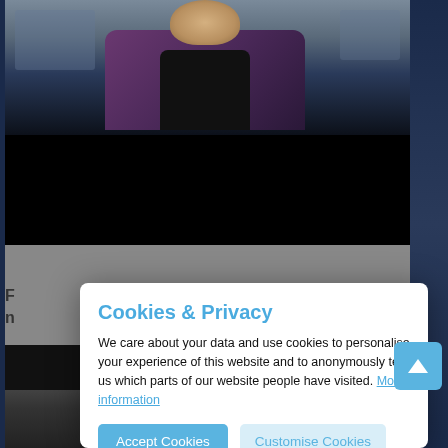[Figure (screenshot): Screenshot of a website with a cookies and privacy consent modal dialog overlaying content. The modal has a title 'Cookies & Privacy' in blue, body text explaining cookie usage, a 'More information' link, an 'Accept Cookies' button and a 'Customise Cookies' button.]
Cookies & Privacy
We care about your data and use cookies to personalise your experience of this website and to anonymously tell us which parts of our website people have visited. More information